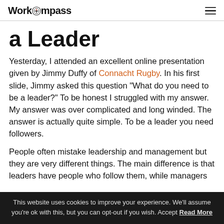WorkCompass
a Leader
Yesterday, I attended an excellent online presentation given by Jimmy Duffy of Connacht Rugby. In his first slide, Jimmy asked this question "What do you need to be a leader?" To be honest I struggled with my answer. My answer was over complicated and long winded. The answer is actually quite simple. To be a leader you need followers.
People often mistake leadership and management but they are very different things. The main difference is that leaders have people who follow them, while managers...
This website uses cookies to improve your experience. We'll assume you're ok with this, but you can opt-out if you wish. Accept Read More